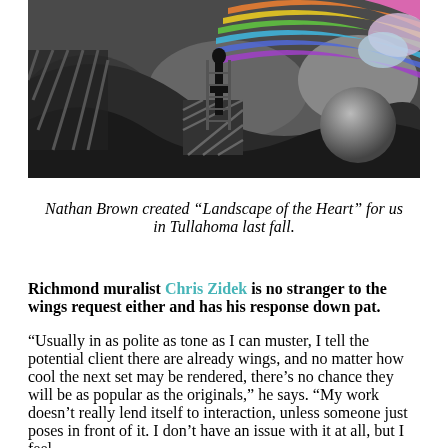[Figure (photo): A muralist stands on a ladder in front of a large black-and-white abstract mural with a colorful rainbow and pink/blue abstract elements in the upper right corner.]
Nathan Brown created “Landscape of the Heart” for us in Tullahoma last fall.
Richmond muralist Chris Zidek is no stranger to the wings request either and has his response down pat.
“Usually in as polite as tone as I can muster, I tell the potential client there are already wings, and no matter how cool the next set may be rendered, there’s no chance they will be as popular as the originals,” he says. “My work doesn’t really lend itself to interaction, unless someone just poses in front of it. I don’t have an issue with it at all, but I feel